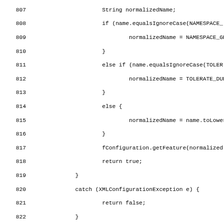Source code listing lines 807-836 showing Java code with normalizedName string handling, try-catch block for XMLConfigurationException, and else block checking properties with equalsIgnoreCase conditions for Constants.DOM and Constants, checking instanceof DOMErrorHandler and LSResourceResolver.